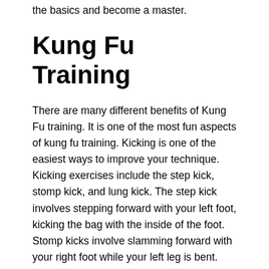the basics and become a master.
Kung Fu Training
There are many different benefits of Kung Fu training. It is one of the most fun aspects of kung fu training. Kicking is one of the easiest ways to improve your technique. Kicking exercises include the step kick, stomp kick, and lung kick. The step kick involves stepping forward with your left foot, kicking the bag with the inside of the foot. Stomp kicks involve slamming forward with your right foot while your left leg is bent.
Aside from improving your physical condition, Kung Fu training has a plethora of psychological benefits. It improves circulation and reduces blood pressure, and can help you develop greater confidence and self-expression. It can also help you deal with stressful